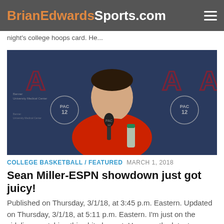BrianEdwardsSports.com
night's college hoops card. He...
[Figure (photo): Sean Miller, Arizona Wildcats basketball coach, sitting at a press conference table in a red polo shirt with arms crossed, in front of a University of Arizona and Pac-12 branded backdrop.]
COLLEGE BASKETBALL / FEATURED  MARCH 1, 2018
Sean Miller-ESPN showdown just got juicy!
Published on Thursday, 3/1/18, at 3:45 p.m. Eastern. Updated on Thursday, 3/1/18, at 5:11 p.m. Eastern. I'm just on the sidelines watching this shit play out. Here are the latest...